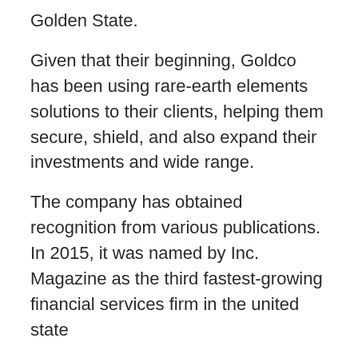Golden State.
Given that their beginning, Goldco has been using rare-earth elements solutions to their clients, helping them secure, shield, and also expand their investments and wide range.
The company has obtained recognition from various publications. In 2015, it was named by Inc. Magazine as the third fastest-growing financial services firm in the united state
Furthermore, it was likewise named by the Los Angeles Service Journal as the 17th fastest-growing business in the higher L.A. location.
Goldco Solutions